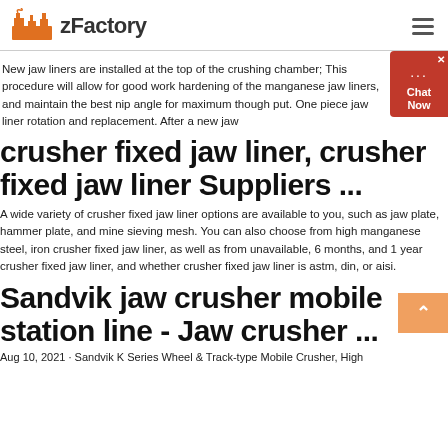zFactory
New jaw liners are installed at the top of the crushing chamber; This procedure will allow for good work hardening of the manganese jaw liners, and maintain the best nip angle for maximum though put. One piece jaw liner rotation and replacement. After a new jaw
crusher fixed jaw liner, crusher fixed jaw liner Suppliers ...
A wide variety of crusher fixed jaw liner options are available to you, such as jaw plate, hammer plate, and mine sieving mesh. You can also choose from high manganese steel, iron crusher fixed jaw liner, as well as from unavailable, 6 months, and 1 year crusher fixed jaw liner, and whether crusher fixed jaw liner is astm, din, or aisi.
Sandvik jaw crusher mobile station line - Jaw crusher ...
Aug 10, 2021 · Sandvik K Series Wheel & Track-type Mobile Crusher, High